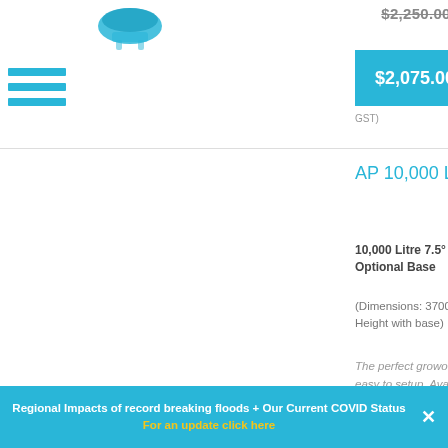[Figure (logo): Blue aquaculture/tank logo icon]
[Figure (other): Hamburger menu icon with three blue horizontal bars]
$2,250.00
$3,900.00
$2,075.00
$3,600.00
(inc GST)
AP 10,000 Litre Aquaculture Tank
10,000 Litre 7.5° Tapered Base Aquaculture Tank with Optional Base
(Dimensions: 3700mm Diameter x 1000mm Height or 1350mm Height with base)
The perfect growout, holding or purging tank. Strong, robust and easy to setup. Available with or without the support base. Complete with a choice of either 50, 80, or 100mm outlet and
Regional Impacts of record breaking floods + Our Current COVID Status For an update click here ✕